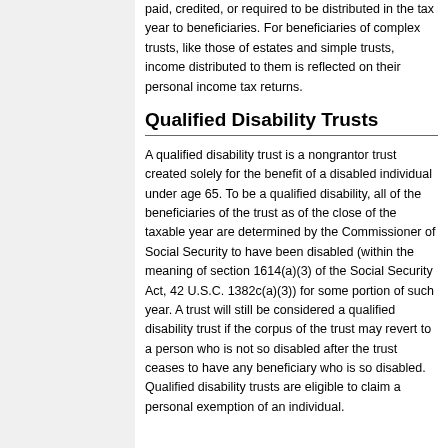paid, credited, or required to be distributed in the tax year to beneficiaries. For beneficiaries of complex trusts, like those of estates and simple trusts, income distributed to them is reflected on their personal income tax returns.
Qualified Disability Trusts
A qualified disability trust is a nongrantor trust created solely for the benefit of a disabled individual under age 65. To be a qualified disability, all of the beneficiaries of the trust as of the close of the taxable year are determined by the Commissioner of Social Security to have been disabled (within the meaning of section 1614(a)(3) of the Social Security Act, 42 U.S.C. 1382c(a)(3)) for some portion of such year. A trust will still be considered a qualified disability trust if the corpus of the trust may revert to a person who is not so disabled after the trust ceases to have any beneficiary who is so disabled. Qualified disability trusts are eligible to claim a personal exemption of an individual.